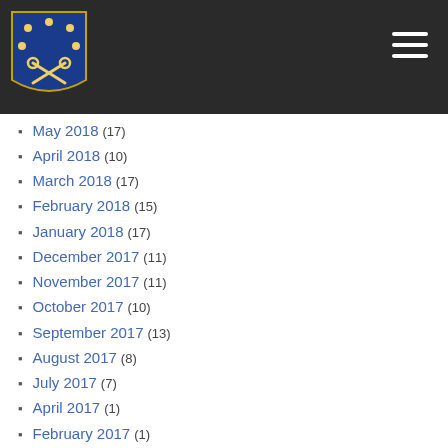Navigation header with logo and hamburger menu
May 2018 (17)
April 2018 (10)
March 2018 (17)
February 2018 (15)
January 2018 (17)
December 2017 (11)
November 2017 (11)
October 2017 (10)
September 2017 (13)
August 2017 (8)
July 2017 (7)
April 2017 (1)
February 2017 (1)
November 2016 (1)
October 2016 (5)
September 2016 (2)
August 2016 (6)
July 2016 (1)
May 2016 (7)
March 2016 (2)